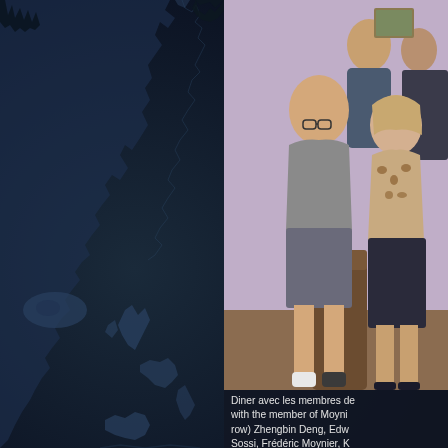[Figure (map): Dark blue illustrated map of Europe and North Atlantic, showing outlines of countries including UK, France, Spain, Norway, Iceland and others in muted blue-grey tones on dark navy background]
[Figure (photo): Group photo of four people standing together in a room with lavender/purple walls. A man in a grey t-shirt and shorts is in the foreground center, a woman in a leopard print top is to the right, and two more people are visible behind them.]
Diner avec les membres de... with the member of Moyni... row) Zhengbin Deng, Edw... Sossi, Frédéric Moynier, K... Creech, Max Thiemens, M...